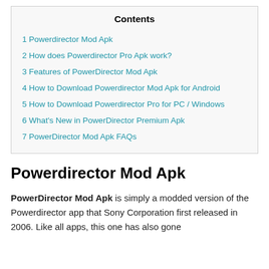Contents
1 Powerdirector Mod Apk
2 How does Powerdirector Pro Apk work?
3 Features of PowerDirector Mod Apk
4 How to Download Powerdirector Mod Apk for Android
5 How to Download Powerdirector Pro for PC / Windows
6 What's New in PowerDirector Premium Apk
7 PowerDirector Mod Apk FAQs
Powerdirector Mod Apk
PowerDirector Mod Apk is simply a modded version of the Powerdirector app that Sony Corporation first released in 2006. Like all apps, this one has also gone